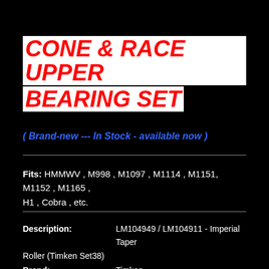CONE & RACE UPPER BEARING SET
( Brand-new --- In Stock - available now )
Fits: HMMWV , M998 , M1097 , M1114 , M1151, M1152 , M1165 , H1 , Cobra , etc.
Description: LM104949 / LM104911 - Imperial Taper Roller (Timken Set38)
Brand: Timken
Inside Dimension: 2.000"  (50.800 mm)
Outside Dimension: 3.250"  (82.550 mm)